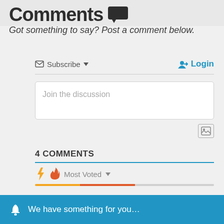Comments
Got something to say? Post a comment below.
Subscribe ▾
➡ Login
Join the discussion
4 COMMENTS
Most Voted ▾
We have something for you…